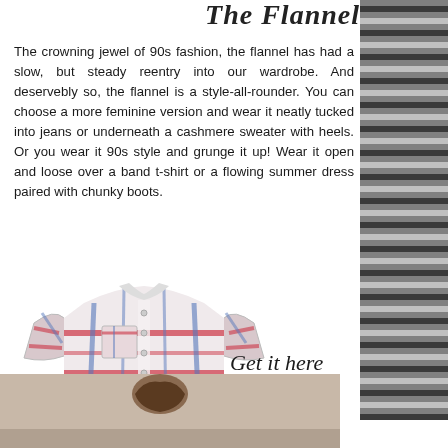The Flannel
The crowning jewel of 90s fashion, the flannel has had a slow, but steady reentry into our wardrobe. And deservebly so, the flannel is a style-all-rounder. You can choose a more feminine version and wear it neatly tucked into jeans or underneath a cashmere sweater with heels. Or you wear it 90s style and grunge it up! Wear it open and loose over a band t-shirt or a flowing summer dress paired with chunky boots.
[Figure (photo): A red, white, and blue plaid flannel shirt displayed flat, with rolled-up sleeves and a chest pocket.]
Get it here
[Figure (photo): Partial view of a person, bottom portion of page with woman's hair visible, striped textured background on right side.]